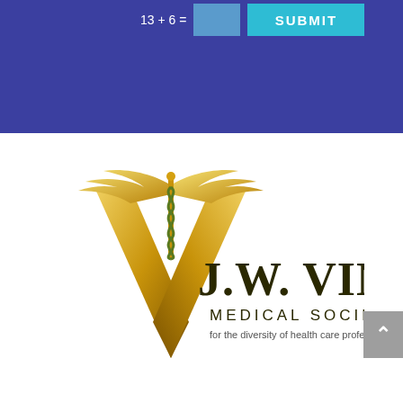13 + 6 =
[Figure (logo): J.W. Vines Medical Society logo featuring a gold caduceus with wings above a gold V-shape, with text 'J.W. VINES MEDICAL SOCIETY for the diversity of health care professionals']